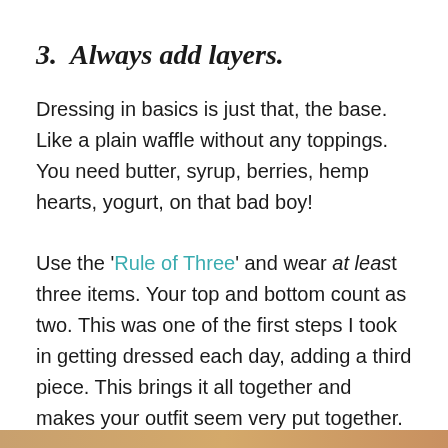3.  Always add layers.
Dressing in basics is just that, the base. Like a plain waffle without any toppings. You need butter, syrup, berries, hemp hearts, yogurt, on that bad boy!
Use the 'Rule of Three' and wear at least three items. Your top and bottom count as two. This was one of the first steps I took in getting dressed each day, adding a third piece. This brings it all together and makes your outfit seem very put together.
[Figure (photo): Bottom strip showing a warm orange/tan colored image, partially visible at the bottom of the page.]